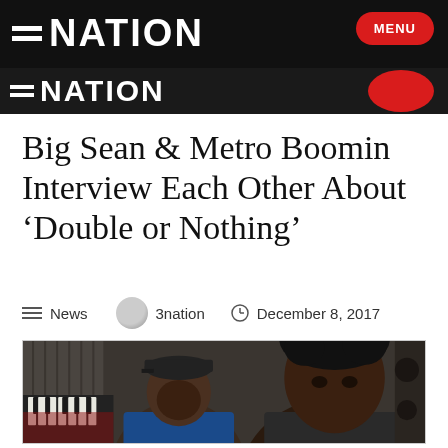3NATION — MENU
Big Sean & Metro Boomin Interview Each Other About 'Double or Nothing'
News   3nation   December 8, 2017
[Figure (photo): Photo of Big Sean and Metro Boomin in a recording studio, with keyboard/piano visible on the left. Two men seated, one wearing a cap facing left, one facing the camera in the foreground.]